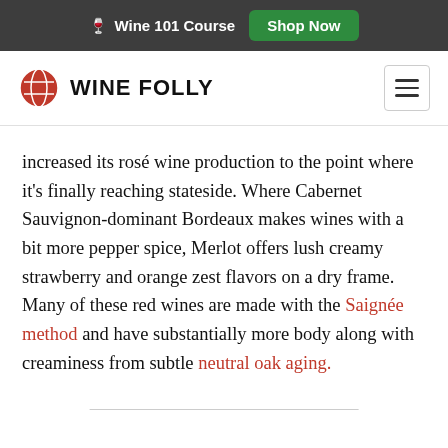🍷 Wine 101 Course  Shop Now
WINE FOLLY
increased its rosé wine production to the point where it's finally reaching stateside. Where Cabernet Sauvignon-dominant Bordeaux makes wines with a bit more pepper spice, Merlot offers lush creamy strawberry and orange zest flavors on a dry frame. Many of these red wines are made with the Saignée method and have substantially more body along with creaminess from subtle neutral oak aging.